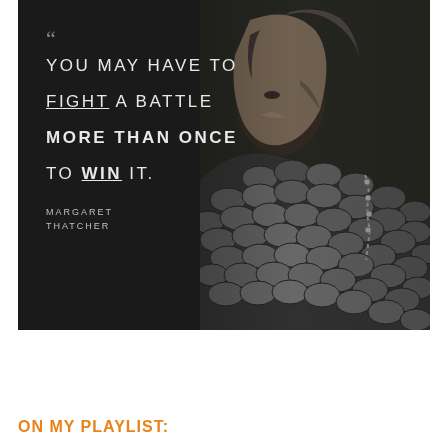[Figure (illustration): Motivational quote image with dark background on the left side showing white text, and a black-and-white photo of a warrior woman in scale armor with braided hair on the right side. Quote reads: 'You may have to fight a battle more than once to win it.' attributed to Margaret Thatcher.]
ON MY PLAYLIST: